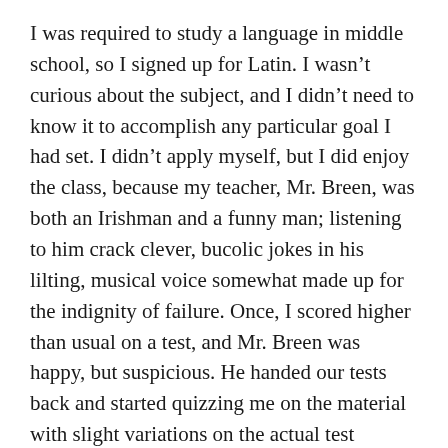I was required to study a language in middle school, so I signed up for Latin. I wasn't curious about the subject, and I didn't need to know it to accomplish any particular goal I had set. I didn't apply myself, but I did enjoy the class, because my teacher, Mr. Breen, was both an Irishman and a funny man; listening to him crack clever, bucolic jokes in his lilting, musical voice somewhat made up for the indignity of failure. Once, I scored higher than usual on a test, and Mr. Breen was happy, but suspicious. He handed our tests back and started quizzing me on the material with slight variations on the actual test questions. I got them right, and he dug in a little deeper, asking me to extrapolate. I can't remember the details, but it quickly became apparent that I didn't understand the principles behind the material. Mr. Breen was baffled, and he good-humoredly shouted (in his thick Irish brogue), “Ohhhh,